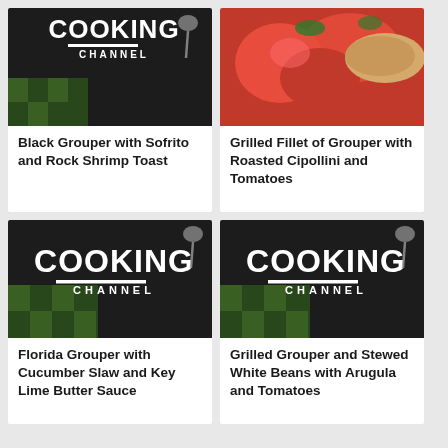[Figure (logo): Cooking Channel logo on dark background with green checkered cloth]
Black Grouper with Sofrito and Rock Shrimp Toast
[Figure (photo): Grilled fish fillet with roasted tomatoes and herbs]
Grilled Fillet of Grouper with Roasted Cipollini and Tomatoes
[Figure (logo): Cooking Channel logo on dark background with green checkered cloth]
Florida Grouper with Cucumber Slaw and Key Lime Butter Sauce
[Figure (logo): Cooking Channel logo on dark background with green checkered cloth]
Grilled Grouper and Stewed White Beans with Arugula and Tomatoes